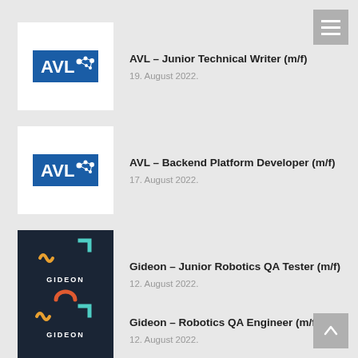[Figure (logo): AVL company logo - white background with blue rectangle showing AVL text and molecule icon]
AVL – Junior Technical Writer (m/f)
19. August 2022.
[Figure (logo): AVL company logo - white background with blue rectangle showing AVL text and molecule icon]
AVL – Backend Platform Developer (m/f)
17. August 2022.
[Figure (logo): Gideon company logo - dark navy background with GIDEON text and colorful abstract shapes]
Gideon – Junior Robotics QA Tester (m/f)
12. August 2022.
[Figure (logo): Gideon company logo - dark navy background with GIDEON text and colorful abstract shapes]
Gideon – Robotics QA Engineer (m/f)
12. August 2022.